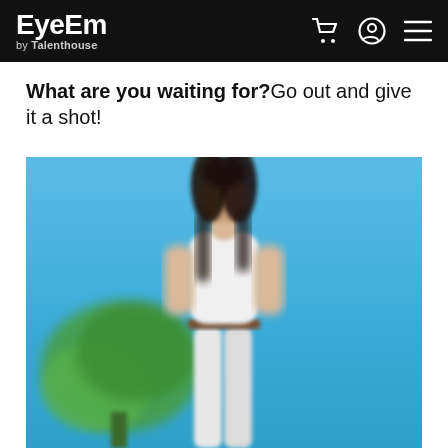EyeEm by Talenthouse
What are you waiting for? Go out and give it a shot!
[Figure (photo): Low-angle photo of a young woman with long dark hair standing outdoors wearing white pants and a white top with a brown belt, photographed from below against a bright blue sky with a blurred green tree in the background.]